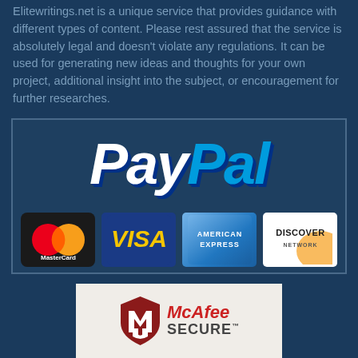Elitewritings.net is a unique service that provides guidance with different types of content. Please rest assured that the service is absolutely legal and doesn't violate any regulations. It can be used for generating new ideas and thoughts for your own project, additional insight into the subject, or encouragement for further researches.
[Figure (logo): PayPal logo with MasterCard, VISA, American Express, and Discover Network payment method icons in a bordered box]
[Figure (logo): McAfee SECURE badge with red shield logo on light beige background]